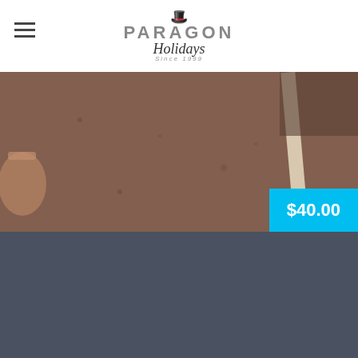[Figure (logo): Paragon Holidays logo with top hat icon, company name and 'Since 1999' tagline]
[Figure (photo): Aerial or close-up photo of a road/pavement surface with a white line marking, possibly a road race track or pathway. Brown/reddish gravel texture visible with a basket/object at left edge.]
$40.00
CONTACT
Contact us for a tailor made experience in Sri Lanka. We will make a tour that suits 100% your needs.